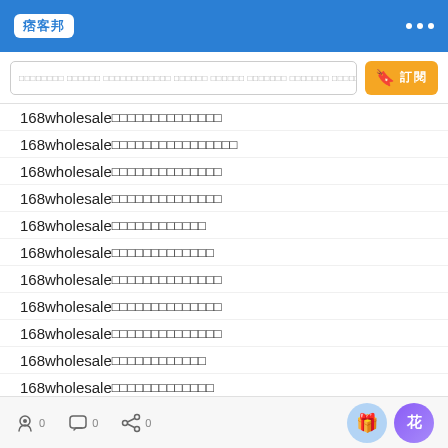痞客邦
168wholesale□□□□□□□□□□□□□□ (×11 repeated rows)
0 0 0